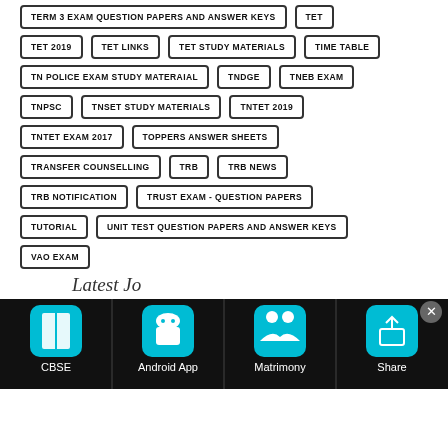TERM 3 EXAM QUESTION PAPERS AND ANSWER KEYS
TET
TET 2019
TET LINKS
TET STUDY MATERIALS
TIME TABLE
TN POLICE EXAM STUDY MATERAIAL
TNDGE
TNEB EXAM
TNPSC
TNSET STUDY MATERIALS
TNTET 2019
TNTET EXAM 2017
TOPPERS ANSWER SHEETS
TRANSFER COUNSELLING
TRB
TRB NEWS
TRB NOTIFICATION
TRUST EXAM - QUESTION PAPERS
TUTORIAL
UNIT TEST QUESTION PAPERS AND ANSWER KEYS
VAO EXAM
Latest Jo
[Figure (screenshot): Bottom navigation bar with CBSE, Android App, Matrimony, Share icons on teal/cyan background, and a close X button]